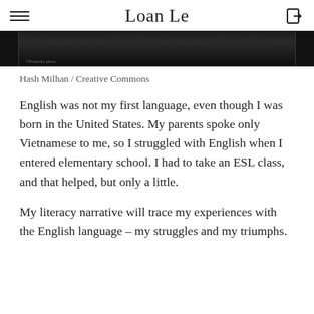Loan Le
[Figure (photo): Dark/black and white photograph strip, partially visible at top of page]
Hash Milhan / Creative Commons
English was not my first language, even though I was born in the United States. My parents spoke only Vietnamese to me, so I struggled with English when I entered elementary school. I had to take an ESL class, and that helped, but only a little.
My literacy narrative will trace my experiences with the English language – my struggles and my triumphs.